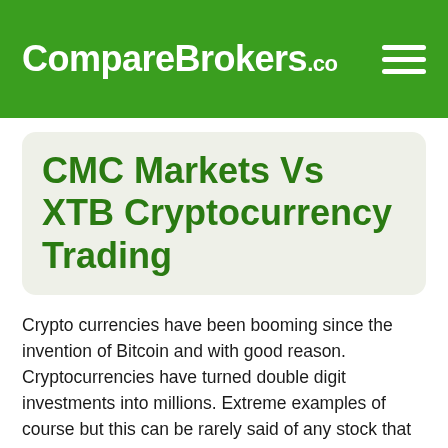CompareBrokers.co
CMC Markets Vs XTB Cryptocurrency Trading
Crypto currencies have been booming since the invention of Bitcoin and with good reason. Cryptocurrencies have turned double digit investments into millions. Extreme examples of course but this can be rarely said of any stock that exists.
Bitcoin is by far the most famous example of cryptocurrency but there are thousands of altcoins that are on the market that have the potential to rise in a similar fashion. Like stock markets, if Bitcoin rises, then altcoins follow suit.
Cryptocurrency can easily be labelled as a higher risk investment. This is because crypto currencies fluctuate oft…